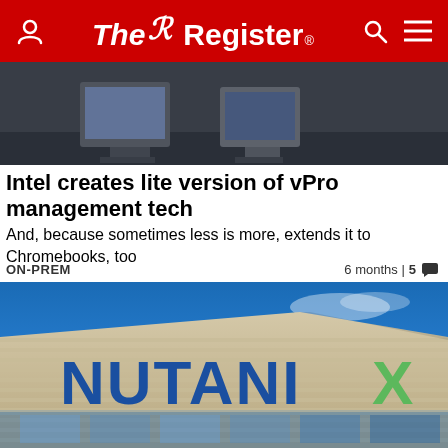The Register
[Figure (photo): Background photo showing computer monitors/screens in a dark environment, partially visible at top]
Intel creates lite version of vPro management tech
And, because sometimes less is more, extends it to Chromebooks, too
ON-PREM    6 months | 5
[Figure (photo): Nutanix office building exterior with large blue and green NUTANIX signage against a blue sky]